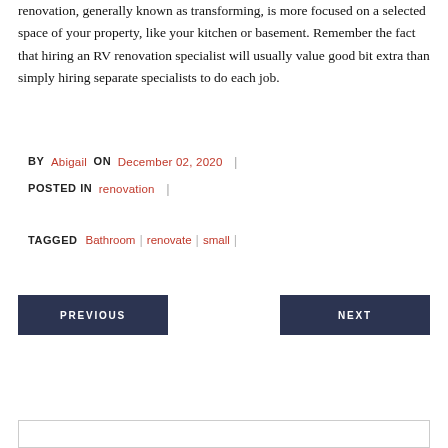renovation, generally known as transforming, is more focused on a selected space of your property, like your kitchen or basement. Remember the fact that hiring an RV renovation specialist will usually value good bit extra than simply hiring separate specialists to do each job.
BY Abigail ON December 02, 2020 | POSTED IN renovation |
TAGGED Bathroom | renovate | small |
PREVIOUS
NEXT